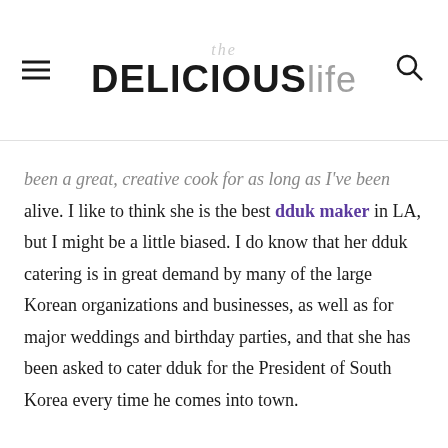the DELICIOUS life
been a great, creative cook for as long as I've been alive. I like to think she is the best dduk maker in LA, but I might be a little biased. I do know that her dduk catering is in great demand by many of the large Korean organizations and businesses, as well as for major weddings and birthday parties, and that she has been asked to cater dduk for the President of South Korea every time he comes into town.
"She and her husband studied dduk-making in South Korea for some time before they opened up their shop. This also lead to securing high-quality, organic sources